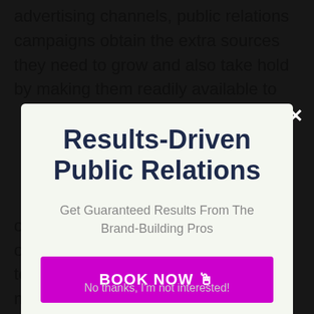advertising channels, public relations campaigns obtain the extra sources they need to grow and also take hold by making them readily available to
Results-Driven Public Relations
Get Guaranteed Results From The Brand-Building Pros
BOOK NOW 👉
outcomes over and over again from other firms. So what you truly require to be searching for is established month-to-month prices with assured
No thanks, I'm not interested!